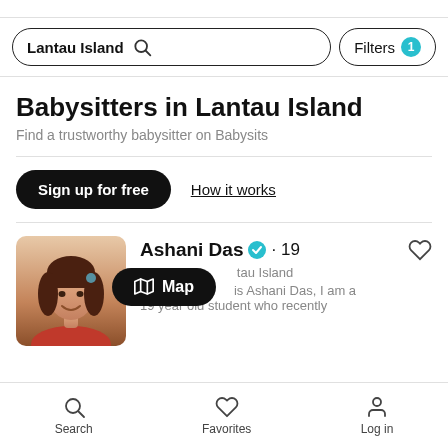[Figure (screenshot): Mobile app search bar showing 'Lantau Island' with search icon and Filters button with badge showing 1]
Babysitters in Lantau Island
Find a trustworthy babysitter on Babysits
Sign up for free
How it works
Ashani Das ✔ · 19
Babysitter in Lantau Island
Hello, my name is Ashani Das, I am a 19 year old student who recently
[Figure (other): Map pill button overlay showing map icon and 'Map' text]
[Figure (photo): Profile photo of Ashani Das, a young woman with long brown hair smiling]
Search   Favorites   Log in